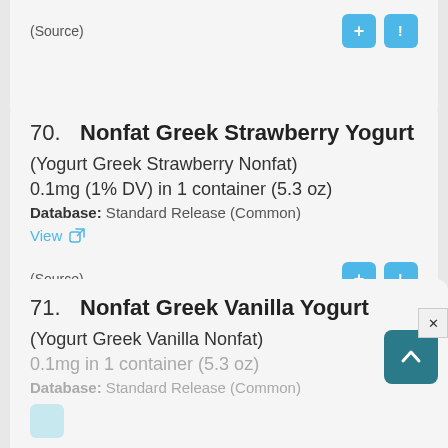(Source)
70. Nonfat Greek Strawberry Yogurt (Yogurt Greek Strawberry Nonfat) 0.1mg (1% DV) in 1 container (5.3 oz) Database: Standard Release (Common)
View
(Source)
71. Nonfat Greek Vanilla Yogurt (Yogurt Greek Vanilla Nonfat) 0.1mg in 1 container (5.3 oz) Database: Standard Release (Common)